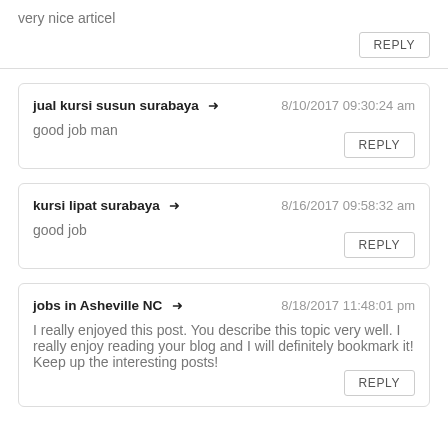very nice articel
REPLY
jual kursi susun surabaya → 8/10/2017 09:30:24 am
good job man
REPLY
kursi lipat surabaya → 8/16/2017 09:58:32 am
good job
REPLY
jobs in Asheville NC → 8/18/2017 11:48:01 pm
I really enjoyed this post. You describe this topic very well. I really enjoy reading your blog and I will definitely bookmark it! Keep up the interesting posts!
REPLY